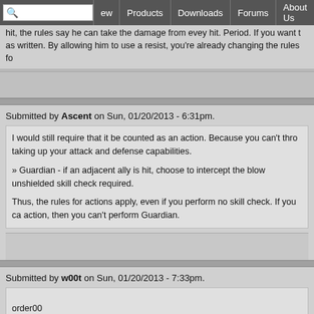ew | Products | Downloads | Forums | About Us
hit, the rules say he can take the damage from evey hit. Period. If you want t… as written. By allowing him to use a resist, you're already changing the rules fo…
Submitted by Ascent on Sun, 01/20/2013 - 6:31pm.
I would still require that it be counted as an action. Because you can't thro… taking up your attack and defense capabilities.

» Guardian - if an adjacent ally is hit, choose to intercept the blow unshielded… skill check required.

Thus, the rules for actions apply, even if you perform no skill check. If you ca… action, then you can't perform Guardian.
Submitted by w00t on Sun, 01/20/2013 - 7:33pm.
order00